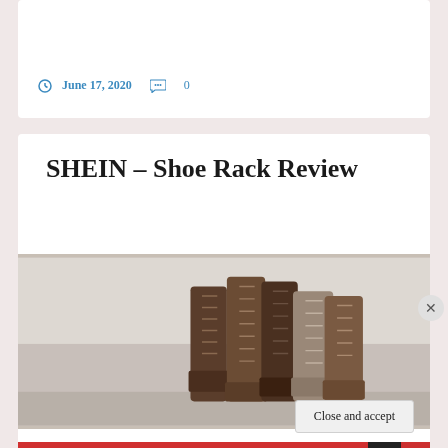June 17, 2020  0
SHEIN – Shoe Rack Review
[Figure (photo): Photo of several brown lace-up ankle boots/shoes standing upright against a light background]
Privacy & Cookies: This site uses cookies. By continuing to use this website, you agree to their use.
To find out more, including how to control cookies, see here: Cookie Policy
Close and accept